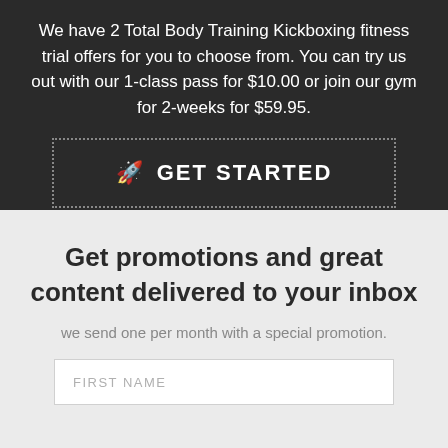We have 2 Total Body Training Kickboxing fitness trial offers for you to choose from. You can try us out with our 1-class pass for $10.00 or join our gym for 2-weeks for $59.95.
[Figure (other): GET STARTED button with rocket icon, dark background with dotted border]
Get promotions and great content delivered to your inbox
we send one per month with a special promotion.
FIRST NAME